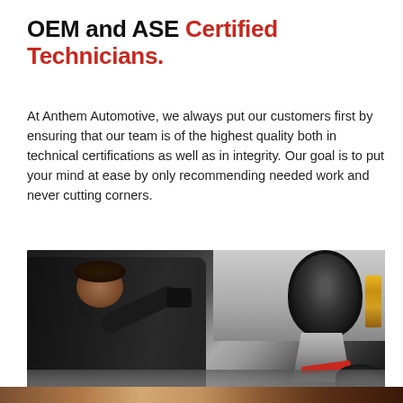OEM and ASE Certified Technicians.
At Anthem Automotive, we always put our customers first by ensuring that our team is of the highest quality both in technical certifications as well as in integrity. Our goal is to put your mind at ease by only recommending needed work and never cutting corners.
[Figure (photo): Photo of an automotive technician working underneath a car, reaching up toward the undercarriage with gloved hands. A tire, a service stand, a spray can, and a red tool are visible in the background.]
[Figure (photo): Partial photo strip at the bottom of the page showing additional automotive service imagery.]